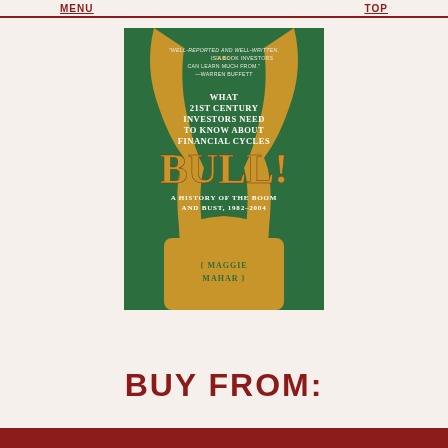MENU    TOP
[Figure (illustration): Book cover of 'BULL! A History of the Boom and Bust, 1982-2004' by Maggie Mahar. Green background with gold bull horns illustration. Contains quote from Warren Buffett: 'Well-reported and well-written. Bull! is a book investors can learn much from.' Subtitle: What 21st Century Investors Need to Know About Financial Cycles.]
BUY FROM: